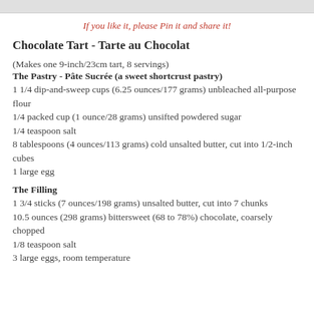[Figure (photo): Partial top image bar showing cropped photo]
If you like it, please Pin it and share it!
Chocolate Tart - Tarte au Chocolat
(Makes one 9-inch/23cm tart, 8 servings)
The Pastry - Pâte Sucrée (a sweet shortcrust pastry)
1 1/4 dip-and-sweep cups (6.25 ounces/177 grams) unbleached all-purpose flour
1/4 packed cup (1 ounce/28 grams) unsifted powdered sugar
1/4 teaspoon salt
8 tablespoons (4 ounces/113 grams) cold unsalted butter, cut into 1/2-inch cubes
1 large egg
The Filling
1 3/4 sticks (7 ounces/198 grams) unsalted butter, cut into 7 chunks
10.5 ounces (298 grams) bittersweet (68 to 78%) chocolate, coarsely chopped
1/8 teaspoon salt
3 large eggs, room temperature